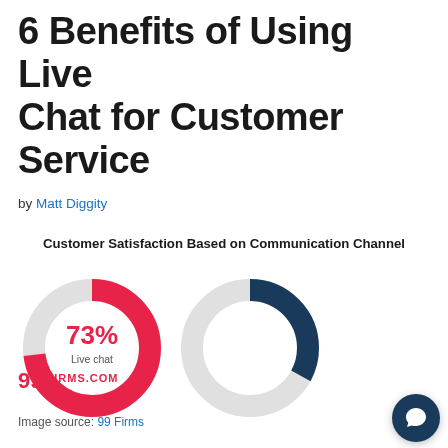6 Benefits of Using Live Chat for Customer Service
by Matt Diggity
[Figure (donut-chart): Donut chart showing 73% customer satisfaction for Live chat channel. Pink/red arc representing 73%, grey remainder.]
Image source: 99 Firms